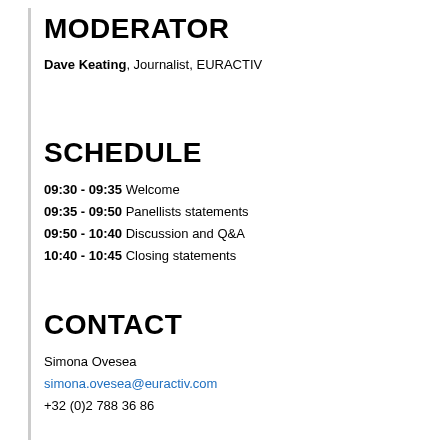MODERATOR
Dave Keating, Journalist, EURACTIV
SCHEDULE
09:30 - 09:35 Welcome
09:35 - 09:50 Panellists statements
09:50 - 10:40 Discussion and Q&A
10:40 - 10:45 Closing statements
CONTACT
Simona Ovesea
simona.ovesea@euractiv.com
+32 (0)2 788 36 86